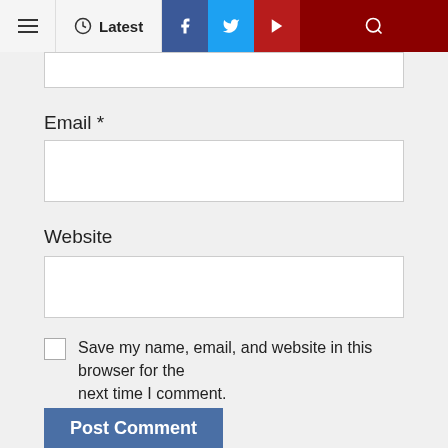[Figure (screenshot): Website navigation bar with hamburger menu, Latest button with clock icon, Facebook, Twitter, YouTube social icons, and search icon on dark red background]
Email *
[Figure (screenshot): Empty text input field for Email]
Website
[Figure (screenshot): Empty text input field for Website]
Save my name, email, and website in this browser for the next time I comment.
Post Comment